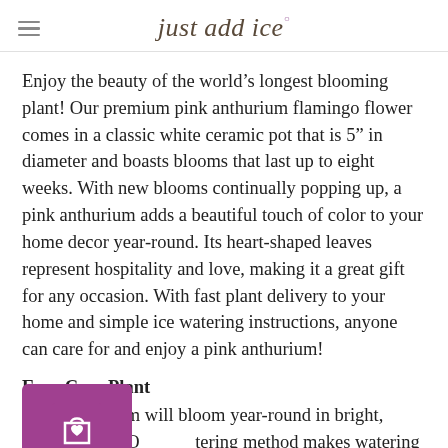just add ice
Enjoy the beauty of the world’s longest blooming plant! Our premium pink anthurium flamingo flower comes in a classic white ceramic pot that is 5” in diameter and boasts blooms that last up to eight weeks. With new blooms continually popping up, a pink anthurium adds a beautiful touch of color to your home decor year-round. Its heart-shaped leaves represent hospitality and love, making it a great gift for any occasion. With fast plant delivery to your home and simple ice watering instructions, anyone can care for and enjoy a pink anthurium!
Easy Care Plant
The anthurium will bloom year-round in bright, indirect light. Our ice watering method makes watering your Anthurium quick and easy; water once per week with six ice cubes!
Unique Gift Option